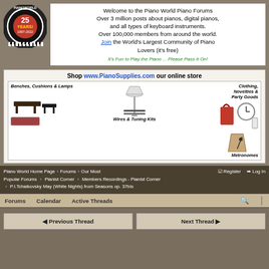[Figure (logo): Piano World 25 Years 1997-2022 circular logo with piano keys border]
Welcome to the Piano World Piano Forums
Over 3 million posts about pianos, digital pianos, and all types of keyboard instruments.
Over 100,000 members from around the world.
Join the World's Largest Community of Piano Lovers (it's free)
It's Fun to Play the Piano ... Please Pass It On!
[Figure (illustration): Piano Supplies advertisement banner showing benches, cushions, lamps, bags, clothing, novelties, party goods, wires, tuning kits, metronomes]
Piano World Home Page > Forums > Our Most Popular Forums > Pianist Corner > Members Recordings - Pianist Corner > P.I.Tchaikovsky May (White Nights) from Seasons op. 37bis
Forums  Calendar  Active Threads
Previous Thread  Next Thread